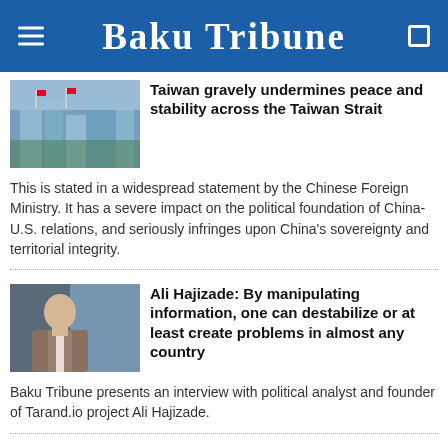Baku Tribune
Taiwan gravely undermines peace and stability across the Taiwan Strait
This is stated in a widespread statement by the Chinese Foreign Ministry. It has a severe impact on the political foundation of China-U.S. relations, and seriously infringes upon China's sovereignty and territorial integrity.
Ali Hajizade: By manipulating information, one can destabilize or at least create problems in almost any country
Baku Tribune presents an interview with political analyst and founder of Tarand.io project Ali Hajizade.
Aghdam's FC Qarabag will take on Hungary's Ferencváros in the third qualifying round of UEFA